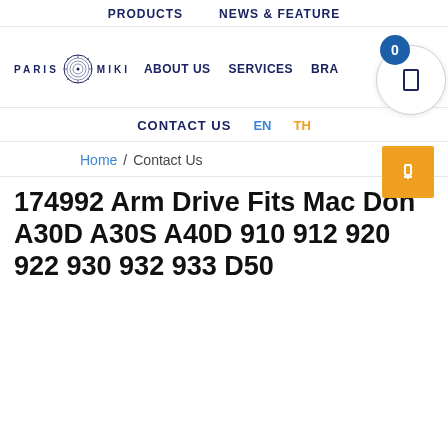PRODUCTS   NEWS & FEATURE
[Figure (logo): Paris Miki logo with ornamental circle between PARIS and MIKI text]
ABOUT US   SERVICES   BRA
CONTACT US   EN   TH
Home / Contact Us
174992 Arm Drive Fits Mac Don A30D A30S A40D 910 912 920 922 930 932 933 D50